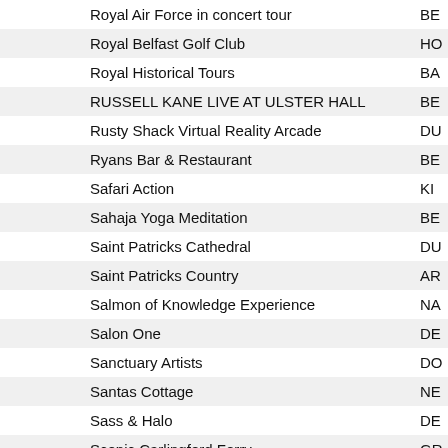| Name | Code |
| --- | --- |
| Royal Air Force in concert tour | BE |
| Royal Belfast Golf Club | HO |
| Royal Historical Tours | BA |
| RUSSELL KANE LIVE AT ULSTER HALL | BE |
| Rusty Shack Virtual Reality Arcade | DU |
| Ryans Bar & Restaurant | BE |
| Safari Action | KI |
| Sahaja Yoga Meditation | BE |
| Saint Patricks Cathedral | DU |
| Saint Patricks Country | AR |
| Salmon of Knowledge Experience | NA |
| Salon One | DE |
| Sanctuary Artists | DO |
| Santas Cottage | NE |
| Sass & Halo | DE |
| Scenic Carlingford Ferry | GR |
| Scotch Hall Shopping Centre | DR |
| Scrabo Golf Club | NE |